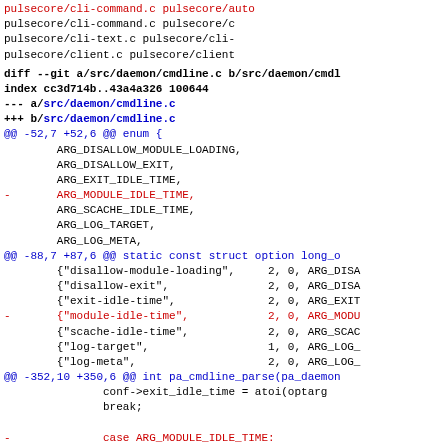pulsecore/cli-command.c pulsecore/c
pulsecore/cli-text.c pulsecore/cli-
pulsecore/client.c pulsecore/client
diff --git a/src/daemon/cmdline.c b/src/daemon/cmdl
index cc3d714b..43a4a326 100644
--- a/src/daemon/cmdline.c
+++ b/src/daemon/cmdline.c
@@ -52,7 +52,6 @@ enum {
        ARG_DISALLOW_MODULE_LOADING,
        ARG_DISALLOW_EXIT,
        ARG_EXIT_IDLE_TIME,
-       ARG_MODULE_IDLE_TIME,
        ARG_SCACHE_IDLE_TIME,
        ARG_LOG_TARGET,
        ARG_LOG_META,
@@ -88,7 +87,6 @@ static const struct option long_o
        {"disallow-module-loading",     2, 0, ARG_DISA
        {"disallow-exit",               2, 0, ARG_DISA
        {"exit-idle-time",              2, 0, ARG_EXIT
-       {"module-idle-time",            2, 0, ARG_MODU
        {"scache-idle-time",            2, 0, ARG_SCAC
        {"log-target",                  1, 0, ARG_LOG_
        {"log-meta",                    2, 0, ARG_LOG_
@@ -352,10 +350,6 @@ int pa_cmdline_parse(pa_daemon
               conf->exit_idle_time = atoi(optarg
               break;

-              case ARG_MODULE_IDLE_TIME:
-              conf->module_idle_time = atoi(opt